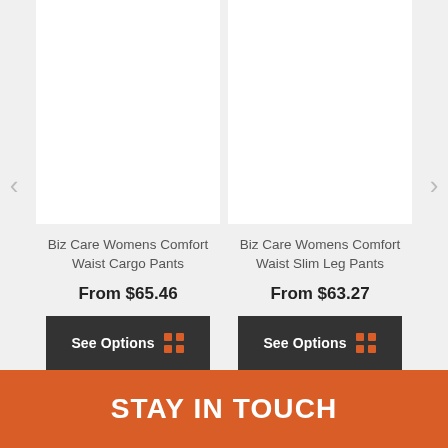[Figure (screenshot): Product card image placeholder (white) for Biz Care Womens Comfort Waist Cargo Pants]
Biz Care Womens Comfort Waist Cargo Pants
From $65.46
See Options
[Figure (screenshot): Product card image placeholder (white) for Biz Care Womens Comfort Waist Slim Leg Pants]
Biz Care Womens Comfort Waist Slim Leg Pants
From $63.27
See Options
STAY IN TOUCH